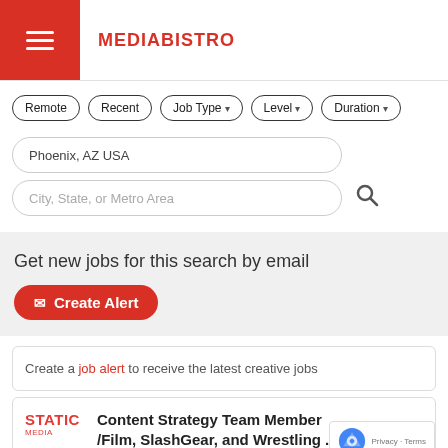MEDIABISTRO
Remote
Recent
Job Type
Level
Duration
Phoenix, AZ USA
City, State, or Metro Area
Get new jobs for this search by email
✉ Create Alert
Create a job alert to receive the latest creative jobs
Content Strategy Team Member /Film, SlashGear, and Wrestling ...